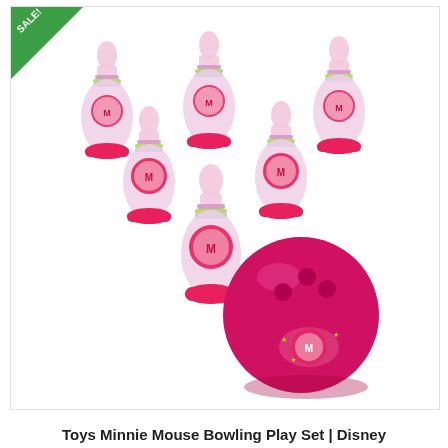[Figure (photo): Minnie Mouse Bowling Play Set product photo showing 6 pink translucent bowling pins with Minnie Mouse character decals and colorful stripe bands, plus one solid hot-pink bowling ball with finger holes and a Minnie Mouse decal. A green 'SALE!' corner badge is visible in the top-left.]
Toys Minnie Mouse Bowling Play Set | Disney